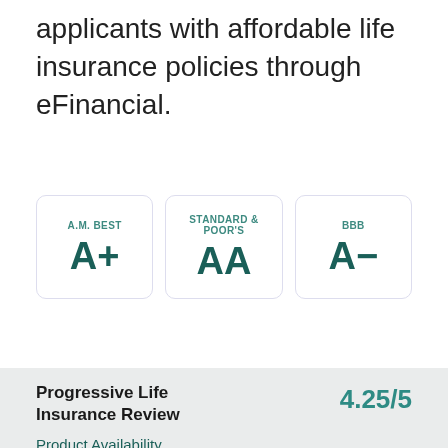applicants with affordable life insurance policies through eFinancial.
[Figure (infographic): Three rating cards side by side: A.M. Best A+, Standard & Poor's AA, BBB A-]
Progressive Life Insurance Review 4.25/5
Product Availability
Review Breakdown
Price/Value
Financial Strength